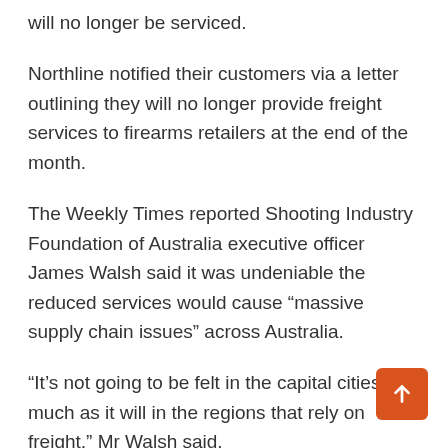will no longer be serviced.
Northline notified their customers via a letter outlining they will no longer provide freight services to firearms retailers at the end of the month.
The Weekly Times reported Shooting Industry Foundation of Australia executive officer James Walsh said it was undeniable the reduced services would cause “massive supply chain issues” across Australia.
“It’s not going to be felt in the capital cities as much as it will in the regions that rely on freight,” Mr Walsh said.
“And they’re more reliant than ever on it due to